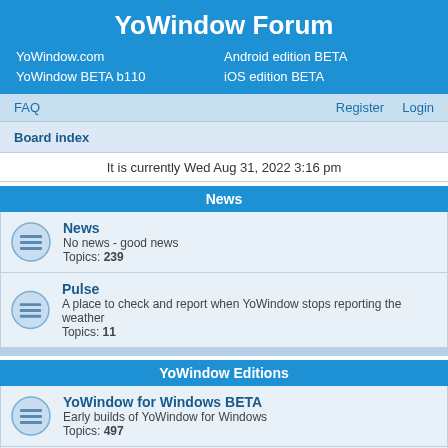YoWindow Forum
YoWindow.com
Android edition BETA
YoWindow BETA b110
iOS edition BETA
FAQ   Register   Login
Board index
It is currently Wed Aug 31, 2022 3:16 pm
News
News
No news - good news
Topics: 239
Pulse
A place to check and report when YoWindow stops reporting the weather
Topics: 11
YoWindow Editions
YoWindow for Windows BETA
Early builds of YoWindow for Windows
Topics: 497
Android
Questions, suggestions, error reports related to Android edition of YoWindow
Topics: 1313